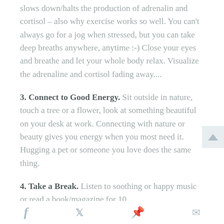slows down/halts the production of adrenalin and cortisol – also why exercise works so well. You can't always go for a jog when stressed, but you can take deep breaths anywhere, anytime :-)  Close your eyes and breathe and let your whole body relax. Visualize the adrenaline and cortisol fading away....
3. Connect to Good Energy. Sit outside in nature, touch a tree or a flower, look at something beautiful on your desk at work. Connecting with nature or beauty gives you energy when you most need it. Hugging a pet or someone you love does the same thing.
4. Take a Break. Listen to soothing or happy music or read a book/magazine for 10